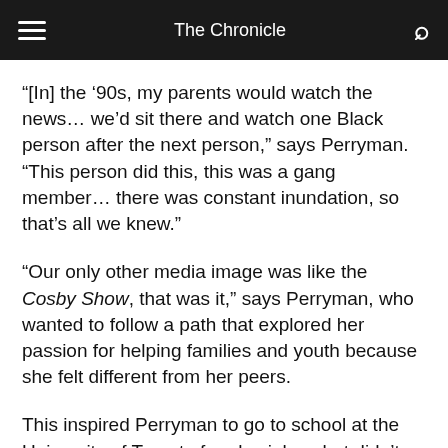The Chronicle
“[In] the ’90s, my parents would watch the news… we’d sit there and watch one Black person after the next person,” says Perryman. “This person did this, this was a gang member… there was constant inundation, so that’s all we knew.”
“Our only other media image was like the Cosby Show, that was it,” says Perryman, who wanted to follow a path that explored her passion for helping families and youth because she felt different from her peers.
This inspired Perryman to go to school at the University of Toronto for physiology but didn’t end up